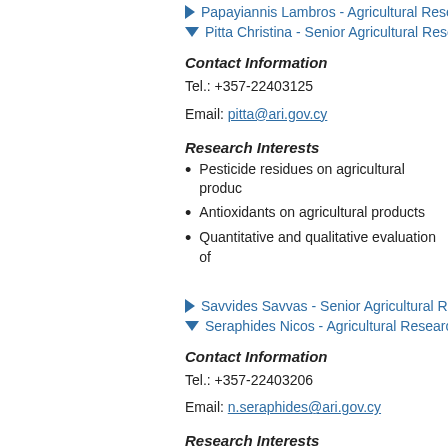Papayiannis Lambros - Agricultural Resea...
Pitta Christina - Senior Agricultural Resear...
Contact Information
Tel.: +357-22403125
Email: pitta@ari.gov.cy
Research Interests
Pesticide residues on agricultural produc...
Antioxidants on agricultural products
Quantitative and qualitative evaluation of...
Savvides Savvas - Senior Agricultural Res...
Seraphides Nicos - Agricultural Research O...
Contact Information
Tel.: +357-22403206
Email: n.seraphides@ari.gov.cy
Research Interests
Biology, ecology, behavior and integrated...
Rearing of beneficial insects (Macro...
Diglyphus isaea, Aphytis melinus, Com...